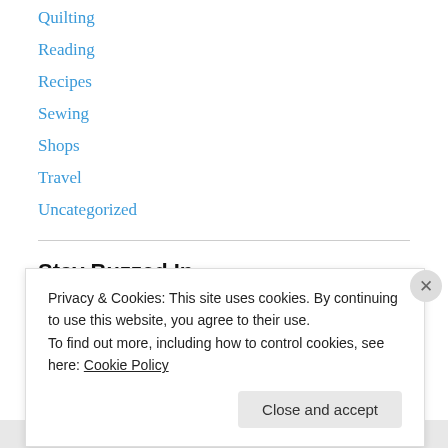Quilting
Reading
Recipes
Sewing
Shops
Travel
Uncategorized
Stay Buzzed In
Enter your email address to follow this blog and receive notifications of new posts by email.
Privacy & Cookies: This site uses cookies. By continuing to use this website, you agree to their use.
To find out more, including how to control cookies, see here: Cookie Policy